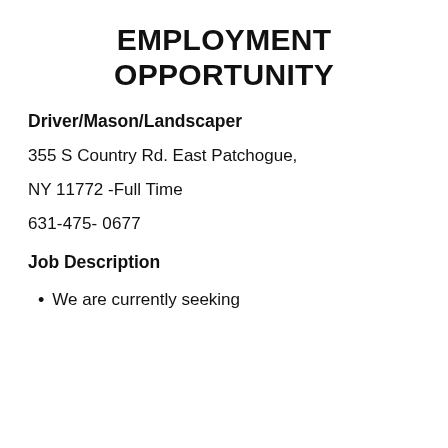EMPLOYMENT OPPORTUNITY
Driver/Mason/Landscaper
355 S Country Rd. East Patchogue,
NY 11772  -Full Time
631-475-  0677
Job Description
We are currently seeking